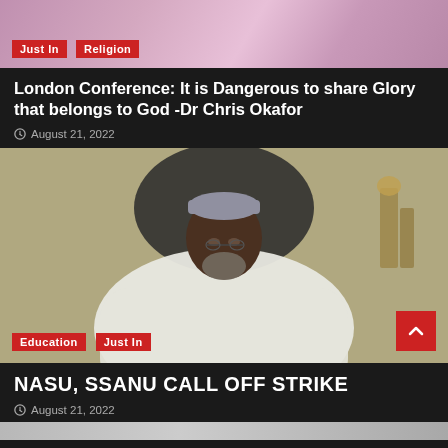[Figure (photo): Top article image with category tags 'Just In' and 'Religion' overlaid at bottom left]
London Conference: It is Dangerous to share Glory that belongs to God -Dr Chris Okafor
August 21, 2022
[Figure (photo): Photo of a man in white traditional attire and grey cap seated in a black leather chair, with category tags 'Education' and 'Just In' overlaid at bottom left]
NASU, SSANU CALL OFF STRIKE
August 21, 2022